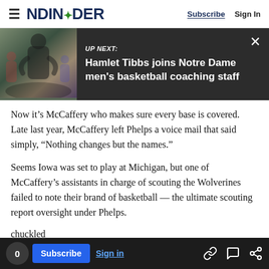NDINSiDER — Subscribe | Sign In
[Figure (screenshot): UP NEXT banner: photo of basketball coach with text 'Hamlet Tibbs joins Notre Dame men's basketball coaching staff']
Now it's McCaffery who makes sure every base is covered. Late last year, McCaffery left Phelps a voice mail that said simply, "Nothing changes but the names."
Seems Iowa was set to play at Michigan, but one of McCaffery's assistants in charge of scouting the Wolverines failed to note their brand of basketball — the ultimate scouting report oversight under Phelps.
0  Subscribe  Sign in  [share icons]
chuckled